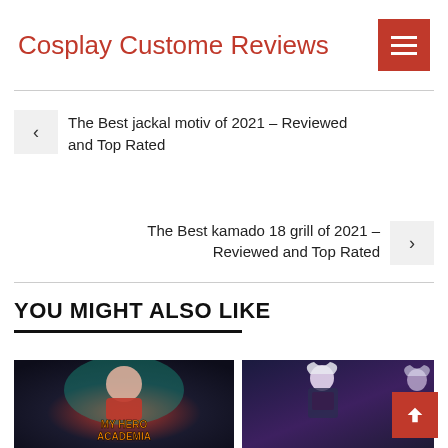Cosplay Custome Reviews
The Best jackal motiv of 2021 – Reviewed and Top Rated
The Best kamado 18 grill of 2021 – Reviewed and Top Rated
YOU MIGHT ALSO LIKE
[Figure (illustration): My Hero Academia anime artwork with characters and orange text logo]
[Figure (illustration): Female cosplay character with white hair on dark blue background]